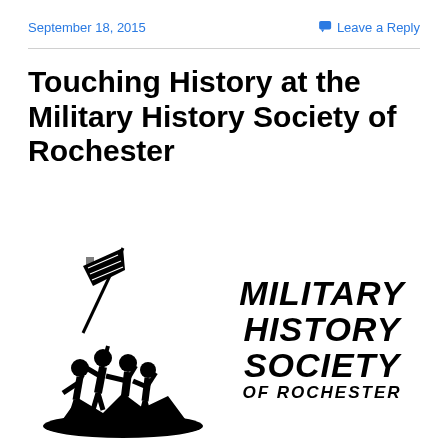September 18, 2015
Leave a Reply
Touching History at the Military History Society of Rochester
[Figure (logo): Military History Society of Rochester logo: Iwo Jima flag-raising silhouette on left, bold italic stacked text reading MILITARY HISTORY SOCIETY OF ROCHESTER on right]